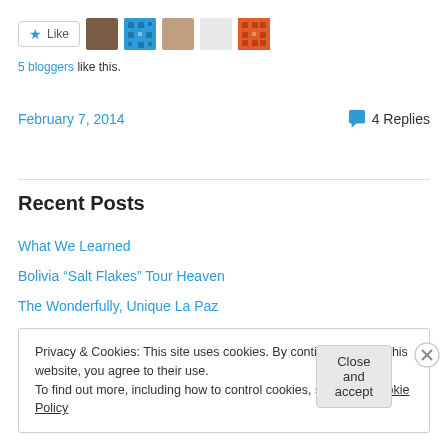[Figure (other): Like button with star icon and 5 blogger avatar thumbnails]
5 bloggers like this.
February 7, 2014   💬 4 Replies
Recent Posts
What We Learned
Bolivia “Salt Flakes” Tour Heaven
The Wonderfully, Unique La Paz
Privacy & Cookies: This site uses cookies. By continuing to use this website, you agree to their use.
To find out more, including how to control cookies, see here: Cookie Policy
Close and accept